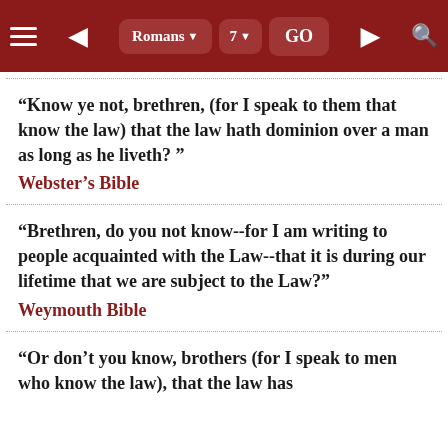Romans 7 GO
“Know ye not, brethren, (for I speak to them that know the law) that the law hath dominion over a man as long as he liveth? ”
Webster's Bible
“Brethren, do you not know--for I am writing to people acquainted with the Law--that it is during our lifetime that we are subject to the Law?”
Weymouth Bible
“Or don’t you know, brothers (for I speak to men who know the law), that the law has